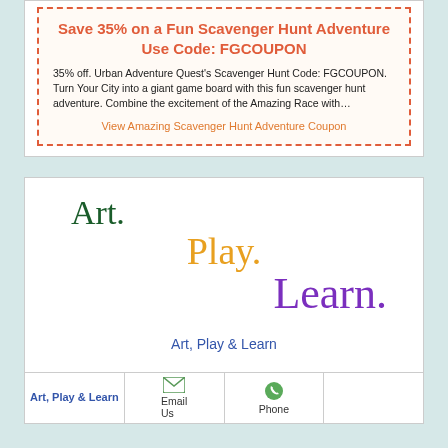Save 35% on a Fun Scavenger Hunt Adventure Use Code: FGCOUPON
35% off. Urban Adventure Quest's Scavenger Hunt Code: FGCOUPON. Turn Your City into a giant game board with this fun scavenger hunt adventure. Combine the excitement of the Amazing Race with...
View Amazing Scavenger Hunt Adventure Coupon
[Figure (other): Art. Play. Learn. decorative text logo with colored words: Art in dark green, Play in amber/orange, Learn in purple, followed by the label 'Art, Play & Learn']
Art, Play & Learn
Art, Play & Learn  Email Us  Phone